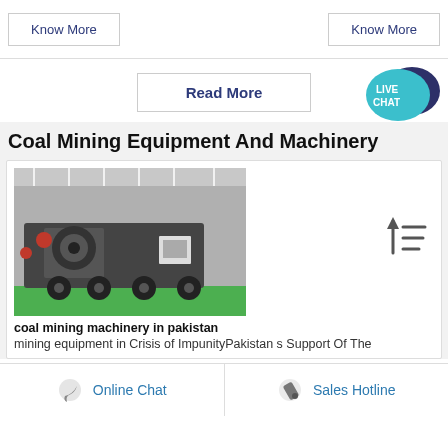Know More
Know More
Read More
[Figure (illustration): Live Chat speech bubble icon in teal/navy]
Coal Mining Equipment And Machinery
[Figure (photo): Large mobile coal mining machinery/crusher on wheels inside an industrial warehouse with green floor]
[Figure (other): Sort/filter icon — upward arrow with horizontal lines]
coal mining machinery in pakistan
mining equipment in Crisis of ImpunityPakistan s Support Of The
Online Chat
Sales Hotline